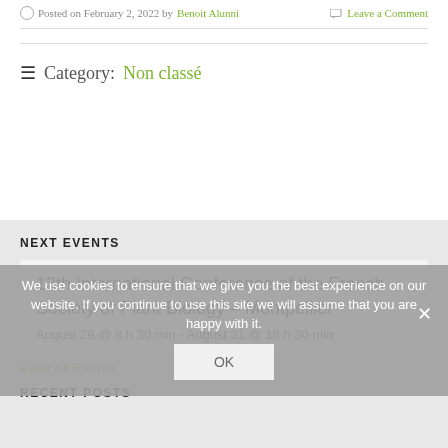Posted on February 2, 2022 by Benoit Alunni   Leave a Comment
≡  Category: Non classé
NEXT EVENTS
13th International Conference of the French Society of Plant Biology – Montpellier
August 29 @ 8 h 30 min - August 31 @ 18 h 30 min
View All Events
We use cookies to ensure that we give you the best experience on our website. If you continue to use this site we will assume that you are happy with it.
OK
RECENT POSTS